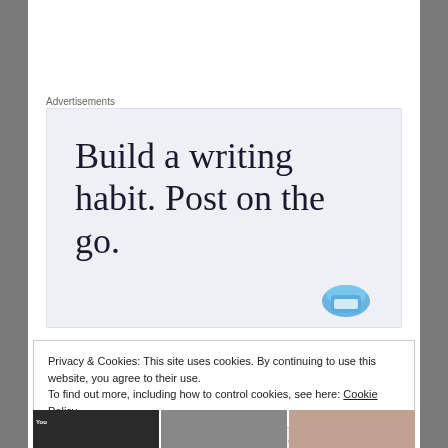Advertisements
[Figure (other): Advertisement banner with light blue-gray background showing the text 'Build a writing habit. Post on the go.' in large serif font, with a partial app icon visible at the bottom right]
Privacy & Cookies: This site uses cookies. By continuing to use this website, you agree to their use.
To find out more, including how to control cookies, see here: Cookie Policy
Close and accept
[Figure (photo): Three thumbnail images at the bottom of the page]